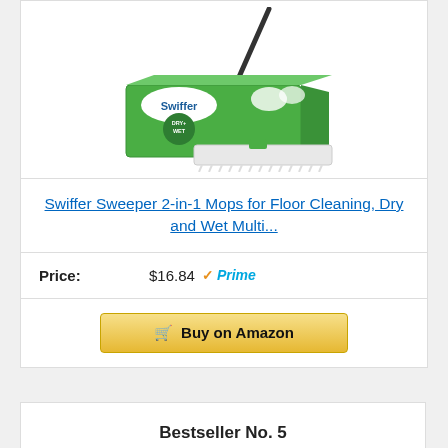[Figure (photo): Swiffer Sweeper 2-in-1 mop product photo with green box and mop handle]
Swiffer Sweeper 2-in-1 Mops for Floor Cleaning, Dry and Wet Multi...
Price: $16.84 Prime
Buy on Amazon
Bestseller No. 5